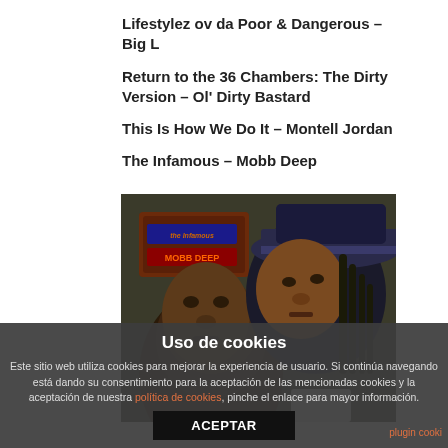Lifestylez ov da Poor & Dangerous – Big L
Return to the 36 Chambers: The Dirty Version – Ol' Dirty Bastard
This Is How We Do It – Montell Jordan
The Infamous – Mobb Deep
[Figure (photo): Album cover of The Infamous by Mobb Deep showing two men's faces close up with a sign reading 'The Infamous Mobb Deep' in the upper left corner]
Uso de cookies
Este sitio web utiliza cookies para mejorar la experiencia de usuario. Si continúa navegando está dando su consentimiento para la aceptación de las mencionadas cookies y la aceptación de nuestra política de cookies, pinche el enlace para mayor información.
ACEPTAR
plugin cooki